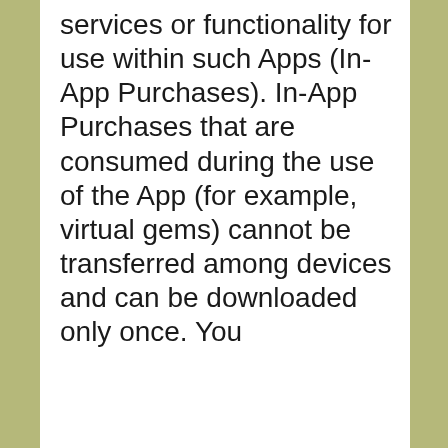services or functionality for use within such Apps (In-App Purchases). In-App Purchases that are consumed during the use of the App (for example, virtual gems) cannot be transferred among devices and can be downloaded only once. You